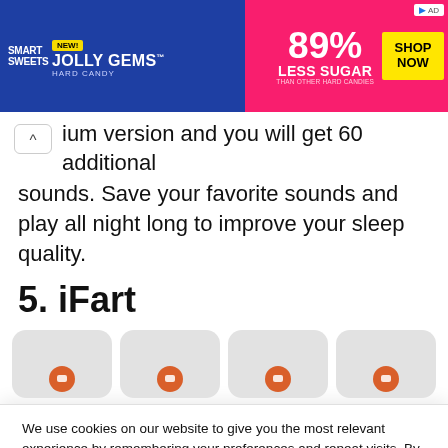[Figure (photo): Smart Sweets Jolly Gems Hard Candy advertisement banner. Blue left side with Smart Sweets logo and Jolly Gems Hard Candy text, pink/red right side with '89% LESS SUGAR THAN OTHER HARD CANDIES' and a yellow 'SHOP NOW' button. Small 'AD' marker in top right corner.]
ium version and you will get 60 additional sounds. Save your favorite sounds and play all night long to improve your sleep quality.
5. iFart
[Figure (screenshot): Four app screenshot cards in a row, each showing a light gray rounded rectangle with an orange circular button at the bottom center.]
We use cookies on our website to give you the most relevant experience by remembering your preferences and repeat visits. By clicking “Accept”, you consent to the use of ALL the cookies.
Do not sell my personal information.
Cookie settings    ACCEPT    Reject